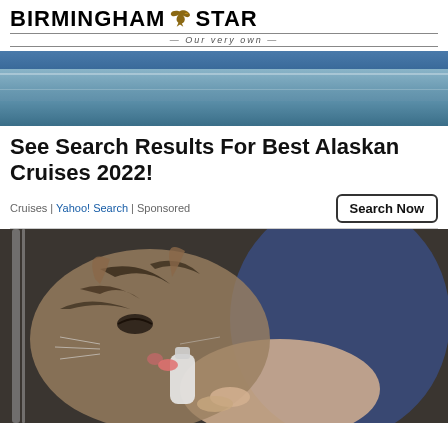[Figure (logo): Birmingham Star newspaper logo with eagle/bird mascot and tagline 'Our very own']
[Figure (photo): Cruise ship on water with blue sky, partial view showing water and blue hull]
See Search Results For Best Alaskan Cruises 2022!
Cruises | Yahoo! Search | Sponsored
[Figure (photo): Tabby cat being bottle-fed by a person in blue pants, cat licking from small bottle]